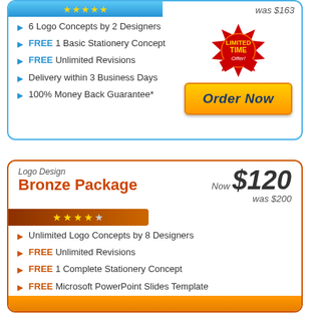6 Logo Concepts by 2 Designers
FREE 1 Basic Stationery Concept
FREE Unlimited Revisions
Delivery within 3 Business Days
100% Money Back Guarantee*
was $163
Order Now
Logo Design
Bronze Package
Now $120
was $200
Unlimited Logo Concepts by 8 Designers
FREE Unlimited Revisions
FREE 1 Complete Stationery Concept
FREE Microsoft PowerPoint Slides Template
FREE 1 Logo Makeover